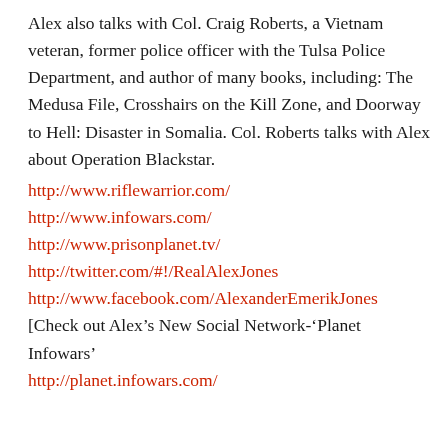Alex also talks with Col. Craig Roberts, a Vietnam veteran, former police officer with the Tulsa Police Department, and author of many books, including: The Medusa File, Crosshairs on the Kill Zone, and Doorway to Hell: Disaster in Somalia. Col. Roberts talks with Alex about Operation Blackstar.
http://www.riflewarrior.com/
http://www.infowars.com/
http://www.prisonplanet.tv/
http://twitter.com/#!/RealAlexJones
http://www.facebook.com/AlexanderEmerikJones
[Check out Alex’s New Social Network-‘Planet Infowars’
http://planet.infowars.com/